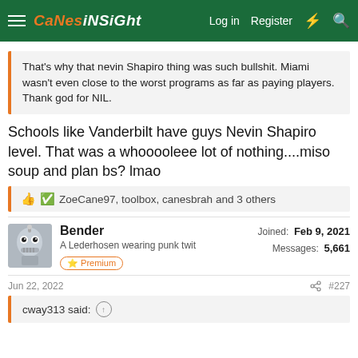CaNeSiNSiGht — Log in  Register
That's why that nevin Shapiro thing was such bullshit. Miami wasn't even close to the worst programs as far as paying players. Thank god for NIL.
Schools like Vanderbilt have guys Nevin Shapiro level. That was a whooooleee lot of nothing....miso soup and plan bs? lmao
👍 ✅ ZoeCane97, toolbox, canesbrah and 3 others
Bender
A Lederhosen wearing punk twit  Premium
Joined: Feb 9, 2021
Messages: 5,661
Jun 22, 2022  #227
cway313 said: ↑